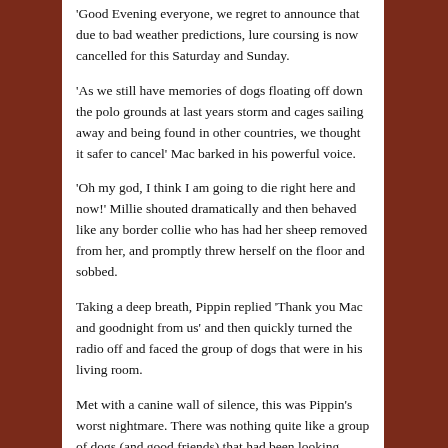'Good Evening everyone, we regret to announce that due to bad weather predictions, lure coursing is now cancelled for this Saturday and Sunday.
'As we still have memories of dogs floating off down the polo grounds at last years storm and cages sailing away and being found in other countries, we thought it safer to cancel'  Mac barked in his powerful voice.
'Oh my god, I think I am going to die right here and now!' Millie shouted dramatically and then behaved like any border collie who has had her sheep removed from her, and promptly threw herself on the floor and sobbed.
Taking a deep breath, Pippin replied 'Thank you Mac and goodnight from us' and then quickly turned the radio off and faced the group of dogs that were in his living room.
Met with a canine wall of silence, this was Pippin's worst nightmare.  There was nothing quite like a group of dogs (and good friends) that had been looking forward to lure coursing, to have Mother Nature literally piss on their